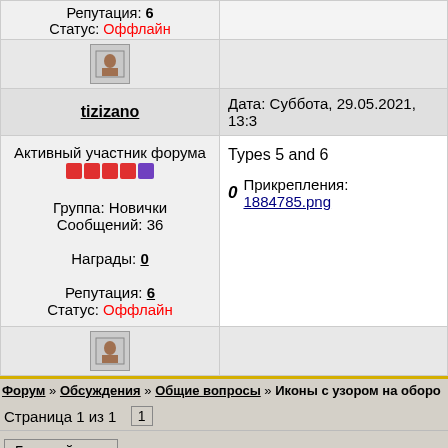| User | Post content |
| --- | --- |
| Репутация: 6
Статус: Оффлайн | [icon] |
| tizizano | Дата: Суббота, 29.05.2021, 13:3... |
| Активный участник форума
[pips]
Группа: Новички
Сообщений: 36
Награды: 0
Репутация: 6
Статус: Оффлайн | Types 5 and 6
0 Прикрепления: 1884785.png... |
| [icon] |  |
Форум » Обсуждения » Общие вопросы » Иконы с узором на оборо...
Страница 1 из 1  1
Быстрый вход